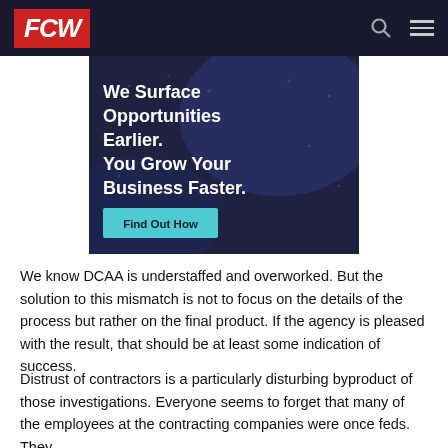FCW
[Figure (infographic): Advertisement banner with dark navy background reading 'We Surface Opportunities Earlier. You Grow Your Business Faster.' with a cyan 'Find Out How' button.]
We know DCAA is understaffed and overworked. But the solution to this mismatch is not to focus on the details of the process but rather on the final product. If the agency is pleased with the result, that should be at least some indication of success.
Distrust of contractors is a particularly disturbing byproduct of those investigations. Everyone seems to forget that many of the employees at the contracting companies were once feds. They